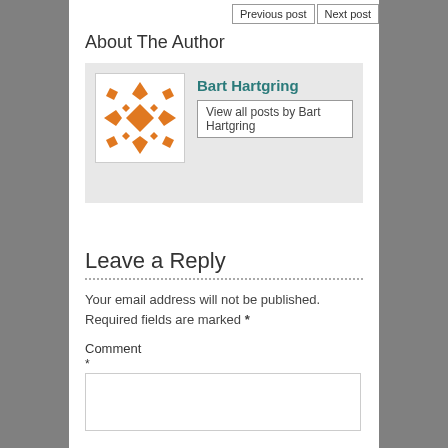Previous post | Next post
About The Author
[Figure (illustration): Orange decorative quilt-pattern avatar image for Bart Hartgring]
Bart Hartgring
View all posts by Bart Hartgring
Leave a Reply
Your email address will not be published. Required fields are marked *
Comment
*